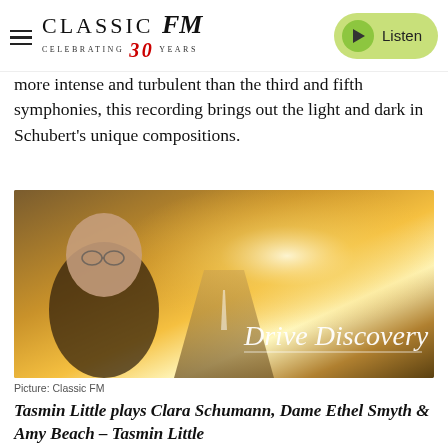Classic FM – Celebrating 30 Years | Listen
more intense and turbulent than the third and fifth symphonies, this recording brings out the light and dark in Schubert's unique compositions.
[Figure (photo): Drive Discovery promotional image showing a man with glasses in front of a road stretching into sunlight, with text 'Drive Discovery']
Picture: Classic FM
Tasmin Little plays Clara Schumann, Dame Ethel Smyth & Amy Beach – Tasmin Little
Chandos